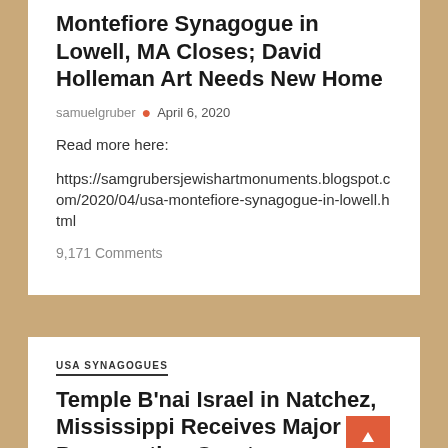Montefiore Synagogue in Lowell, MA Closes; David Holleman Art Needs New Home
samuelgruber • April 6, 2020
Read more here:
https://samgrubersjewishartmonuments.blogspot.com/2020/04/usa-montefiore-synagogue-in-lowell.html
9,171 Comments
USA SYNAGOGUES
Temple B'nai Israel in Natchez, Mississippi Receives Major Preservation Grant